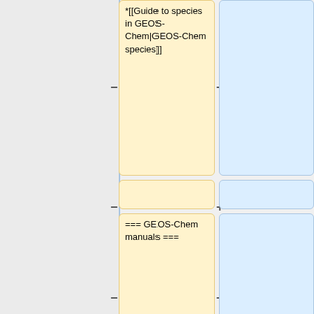*[[Guide to species in GEOS-Chem|GEOS-Chem species]]
=== GEOS-Chem manuals ===
The table below lists the various manual pages for GEOS-Chem and its related software packages.
The table below lists the various manual pages for GEOS-Chem and its related software packages.
Line 59:
Line 53: